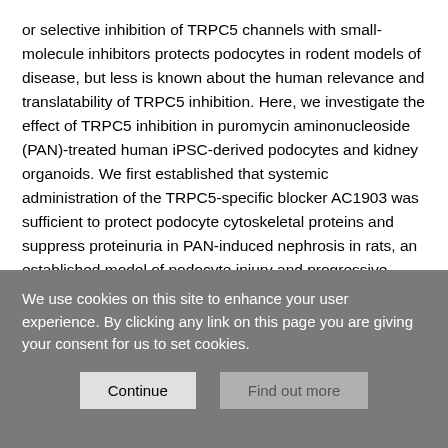or selective inhibition of TRPC5 channels with small-molecule inhibitors protects podocytes in rodent models of disease, but less is known about the human relevance and translatability of TRPC5 inhibition. Here, we investigate the effect of TRPC5 inhibition in puromycin aminonucleoside (PAN)-treated human iPSC-derived podocytes and kidney organoids. We first established that systemic administration of the TRPC5-specific blocker AC1903 was sufficient to protect podocyte cytoskeletal proteins and suppress proteinuria in PAN-induced nephrosis in rats, an established model of podocyte injury and progressive kidney disease. PAN treatment also triggered the Rac1-TRPC5 injury pathway in human iPSC-derived podocytes and kidney
We use cookies on this site to enhance your user experience. By clicking any link on this page you are giving your consent for us to set cookies.